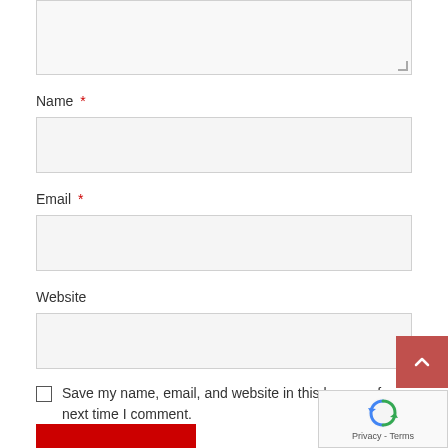[Figure (screenshot): Partially visible textarea input field at top of page]
Name *
[Figure (screenshot): Name text input field]
Email *
[Figure (screenshot): Email text input field]
Website
[Figure (screenshot): Website text input field]
Save my name, email, and website in this browser for next time I comment.
[Figure (screenshot): Red scroll-to-top button with upward chevron icon and reCAPTCHA widget overlay]
[Figure (screenshot): Partially visible red submit button at bottom]